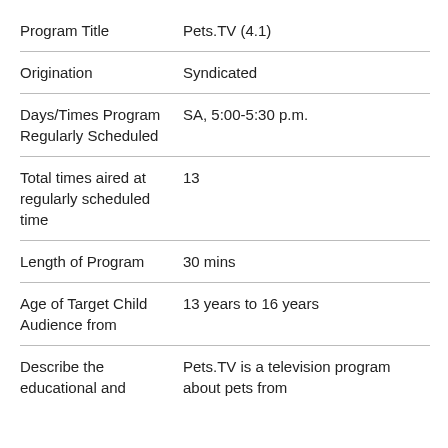| Field | Value |
| --- | --- |
| Program Title | Pets.TV (4.1) |
| Origination | Syndicated |
| Days/Times Program Regularly Scheduled | SA, 5:00-5:30 p.m. |
| Total times aired at regularly scheduled time | 13 |
| Length of Program | 30 mins |
| Age of Target Child Audience from | 13 years to 16 years |
| Describe the educational and | Pets.TV is a television program about pets from |